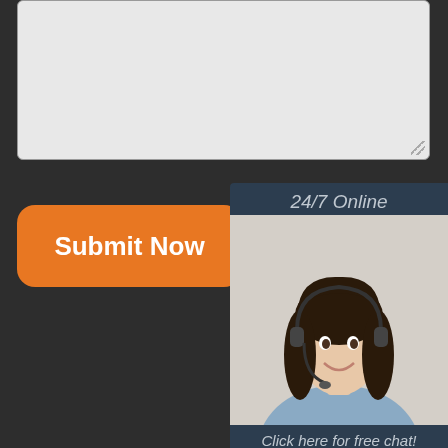[Figure (screenshot): Grey textarea input box with resize handle at bottom right]
Submit Now
[Figure (photo): 24/7 Online customer service widget with photo of woman with headset, Click here for free chat text, and QUOTATION orange button]
Copyright © NINGBO YUANKING AUTO PART
Sitemap
trailer lug nut socket size belarus
trailer hitch cable poland
which superior quality trailer cable pinout